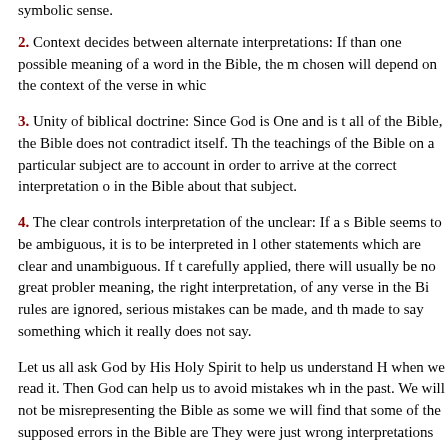symbolic sense.
2. Context decides between alternate interpretations: If than one possible meaning of a word in the Bible, the n chosen will depend on the context of the verse in whic
3. Unity of biblical doctrine: Since God is One and is t all of the Bible, the Bible does not contradict itself. Th the teachings of the Bible on a particular subject are to account in order to arrive at the correct interpretation o in the Bible about that subject.
4. The clear controls interpretation of the unclear: If a s Bible seems to be ambiguous, it is to be interpreted in l other statements which are clear and unambiguous. If t carefully applied, there will usually be no great probler meaning, the right interpretation, of any verse in the Bi rules are ignored, serious mistakes can be made, and th made to say something which it really does not say.
Let us all ask God by His Holy Spirit to help us understand H when we read it. Then God can help us to avoid mistakes wh in the past. We will not be misrepresenting the Bible as some we will find that some of the supposed errors in the Bible are They were just wrong interpretations of the words of the Bib the Bible does not contradict, for example, the facts of scienc